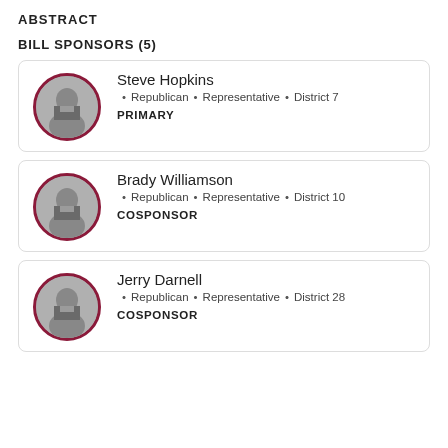ABSTRACT
BILL SPONSORS (5)
Steve Hopkins • Republican • Representative • District 7 PRIMARY
Brady Williamson • Republican • Representative • District 10 COSPONSOR
Jerry Darnell • Republican • Representative • District 28 COSPONSOR